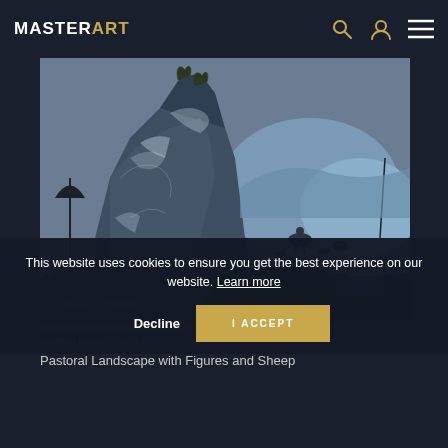MASTERART
[Figure (illustration): Pastoral landscape painting with dramatic rocky formation in blue-grey tones, figures on horseback and dogs in the middle ground, mountains in background, atmospheric classical landscape style]
Stephen Ongpin Fine Art
Pastoral Landscape with Figures and Sheep
This website uses cookies to ensure you get the best experience on our website. Learn more
Decline  I ACCEPT